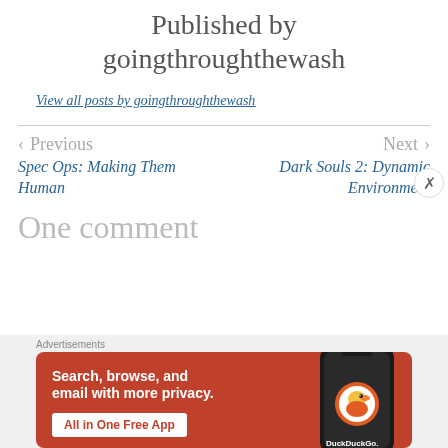Published by goingthroughthewash
View all posts by goingthroughthewash
< Previous
Spec Ops: Making Them Human
Next >
Dark Souls 2: Dynamic Environment
One comment
[Figure (other): DuckDuckGo advertisement banner: Search, browse, and email with more privacy. All in One Free App.]